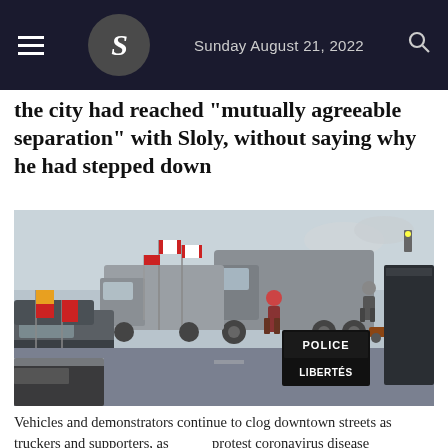Sunday August 21, 2022
the city had reached "mutually agreeable separation" with Sloly, without saying why he had stepped down
[Figure (photo): Street scene showing vehicles and demonstrators blocking downtown streets, with Canadian flags, trucks, and a sign reading POLICE LIBERTES visible among the crowd during a protest.]
Vehicles and demonstrators continue to clog downtown streets as truckers and supporters, as protect coronavirus disease